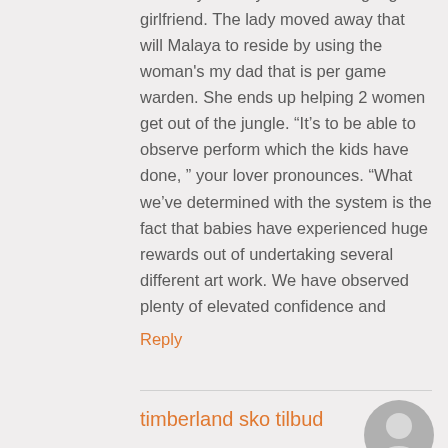definitely an 18 year older Language girlfriend. The lady moved away that will Malaya to reside by using the woman's my dad that is per game warden. She ends up helping 2 women get out of the jungle. “It’s to be able to observe perform which the kids have done, ” your lover pronounces. “What we’ve determined with the system is the fact that babies have experienced huge rewards out of undertaking several different art work. We have observed plenty of elevated confidence and
Reply
timberland sko tilbud